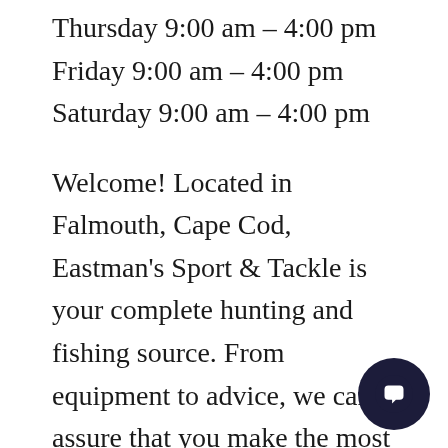Thursday 9:00 am – 4:00 pm
Friday 9:00 am – 4:00 pm
Saturday 9:00 am – 4:00 pm
Welcome! Located in Falmouth, Cape Cod, Eastman's Sport & Tackle is your complete hunting and fishing source. From equipment to advice, we can assure that you make the most out of your leisure ... and get the most mileage out of your wallet. We carry all the name brand rods, reels and lures, but don't forget our extensive inventory of shellfishing, hunting, and firearms gear. Eastman's is also your neighborhood tackle repair shop: bring in your reels for seasonal...